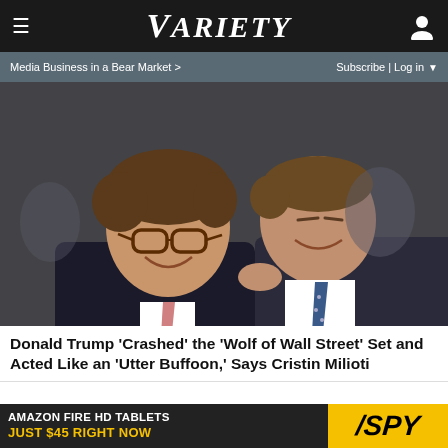VARIETY — Media Business in a Bear Market > | Subscribe | Log in
[Figure (photo): Two men in suits facing each other closely, smiling, one wearing glasses, in a scene from 'The Wolf of Wall Street']
Donald Trump 'Crashed' the 'Wolf of Wall Street' Set and Acted Like an 'Utter Buffoon,' Says Cristin Milioti
[Figure (photo): Advertisement: Amazon Fire HD Tablets Just $45 Right Now — SPY ad banner]